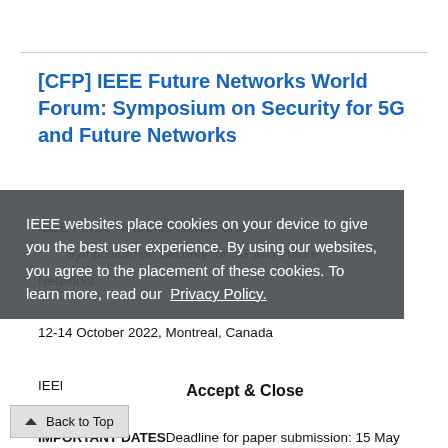[CFP] IEEE Future Networks World Forum: Symposium on Security for 5G and Future Networks
IEEE Future Networks World Forum: Symposium on Security for 5G and Future Networks
12-14 October 2022, Montreal, Canada
IEEE FNWF 2022  website: https://fnwf.ieee.org
IMPORTANT DATESDeadline for paper submission: 15 May 2022Date for notification: 30 July 2022Camera Ready Submission: 31...
IEEE websites place cookies on your device to give you the best user experience. By using our websites, you agree to the placement of these cookies. To learn more, read our Privacy Policy.